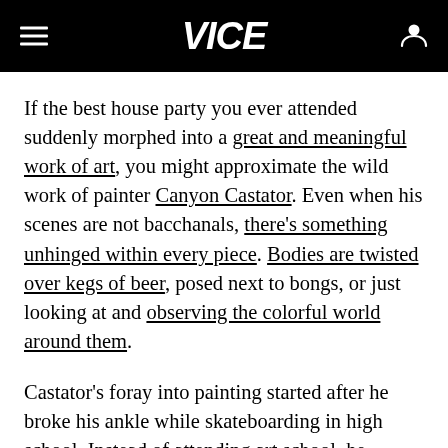VICE
If the best house party you ever attended suddenly morphed into a great and meaningful work of art, you might approximate the wild work of painter Canyon Castator. Even when his scenes are not bacchanals, there's something unhinged within every piece. Bodies are twisted over kegs of beer, posed next to bongs, or just looking at and observing the colorful world around them.
Castator's foray into painting started after he broke his ankle while skateboarding in high school. Instead of attending art school, he